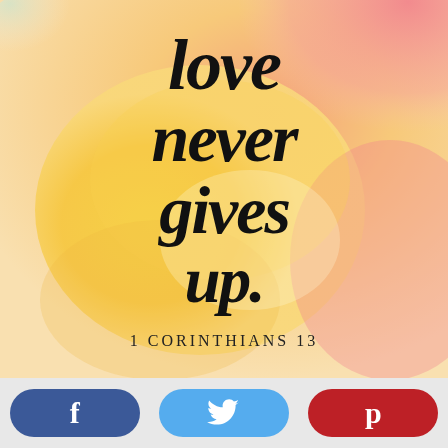[Figure (illustration): Watercolor background with warm yellow, orange, pink, and coral tones. Bold brush-lettered handwritten text reads 'love never gives up.' in black script. Below reads '1 CORINTHIANS 13' in spaced serif letters.]
love never gives up.
1 CORINTHIANS 13
[Figure (infographic): Social sharing bar at the bottom with three rounded pill-shaped buttons: Facebook (dark blue, 'f'), Twitter (light blue, bird icon), Pinterest (red, 'p').]